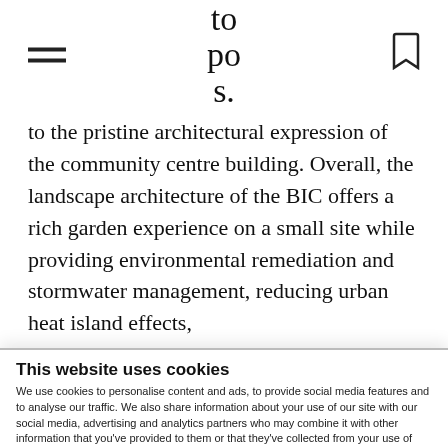topos.
to the pristine architectural expression of the community centre building. Overall, the landscape architecture of the BIC offers a rich garden experience on a small site while providing environmental remediation and stormwater management, reducing urban heat island effects,
This website uses cookies
We use cookies to personalise content and ads, to provide social media features and to analyse our traffic. We also share information about your use of our site with our social media, advertising and analytics partners who may combine it with other information that you've provided to them or that they've collected from your use of their services.
Allow selection | Allow all cookies
Necessary | Preferences | Statistics | Marketing | Show details